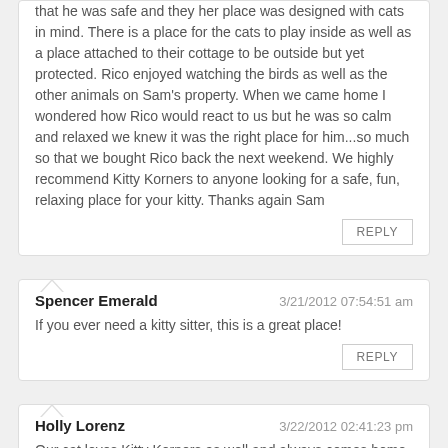that he was safe and they her place was designed with cats in mind. There is a place for the cats to play inside as well as a place attached to their cottage to be outside but yet protected. Rico enjoyed watching the birds as well as the other animals on Sam's property. When we came home I wondered how Rico would react to us but he was so calm and relaxed we knew it was the right place for him...so much so that we bought Rico back the next weekend. We highly recommend Kitty Korners to anyone looking for a safe, fun, relaxing place for your kitty. Thanks again Sam
REPLY
Spencer Emerald	3/21/2012 07:54:51 am
If you ever need a kitty sitter, this is a great place!
REPLY
Holly Lorenz	3/22/2012 02:41:23 pm
Our cat loves Kitty Korners as well and always comes home happier than when we left him!! Sam has helped up care for our "rescue" cat! We really appreciate knowing he's in great